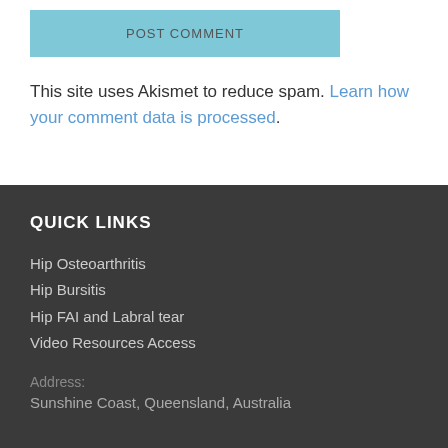[Figure (other): POST COMMENT button — a light blue/teal rectangular button with grey text]
This site uses Akismet to reduce spam. Learn how your comment data is processed.
QUICK LINKS
Hip Osteoarthritis
Hip Bursitis
Hip FAI and Labral tear
Video Resources Access
Address:
Sunshine Coast, Queensland, Australia